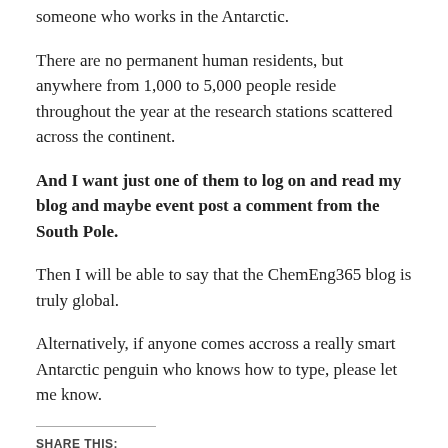someone who works in the Antarctic.
There are no permanent human residents, but anywhere from 1,000 to 5,000 people reside throughout the year at the research stations scattered across the continent.
And I want just one of them to log on and read my blog and maybe event post a comment from the South Pole.
Then I will be able to say that the ChemEng365 blog is truly global.
Alternatively, if anyone comes accross a really smart Antarctic penguin who knows how to type, please let me know.
SHARE THIS: